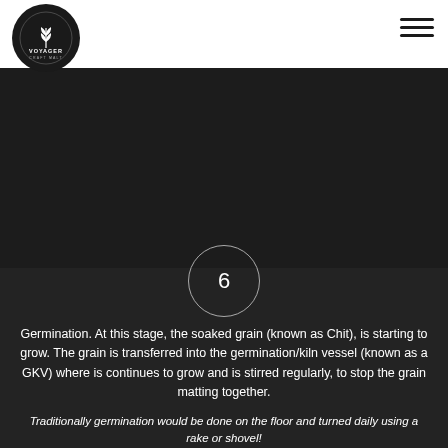[Figure (logo): Voyager Craft Malt circular logo with wheat/leaf icon and text VOYAGER CRAFT MALT on dark background]
[Figure (illustration): Dark background image area showing a dark/black scene, appears to be a grain germination process photo]
6
Germination. At this stage, the soaked grain (known as Chit), is starting to grow. The grain is transferred into the germination/kiln vessel (known as a GKV) where is continues to grow and is stirred regularly, to stop the grain matting together.
Traditionally germination would be done on the floor and turned daily using a rake or shovel!